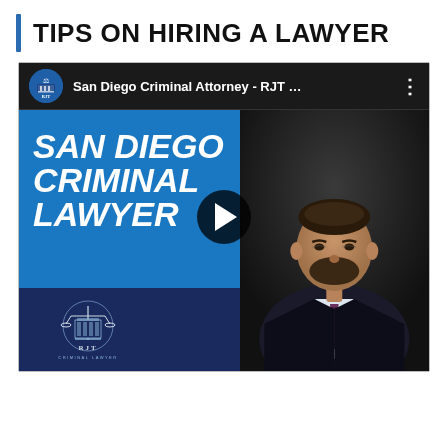TIPS ON HIRING A LAWYER
[Figure (screenshot): YouTube video thumbnail embed showing a San Diego Criminal Lawyer video by RJT Criminal Lawyer channel. The thumbnail features bold white italic text reading 'SAN DIEGO CRIMINAL LAWYER' on a blue background on the left, and a man in a suit and tie on the dark right side. A play button is centered over the video. The YouTube top bar shows the channel name 'San Diego Criminal Attorney - RJT ...' with the RJT logo icon.]